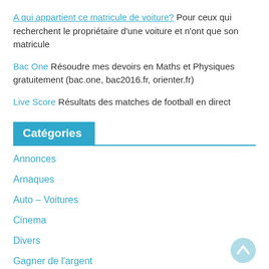A qui appartient ce matricule de voiture? Pour ceux qui recherchent le propriétaire d'une voiture et n'ont que son matricule
Bac One Résoudre mes devoirs en Maths et Physiques gratuitement (bac.one, bac2016.fr, orienter.fr)
Live Score Résultats des matches de football en direct
Catégories
Annonces
Arnaques
Auto – Voitures
Cinema
Divers
Gagner de l'argent